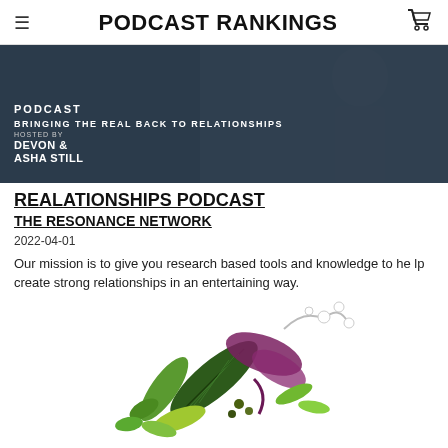PODCAST RANKINGS
[Figure (photo): Podcast banner image with dark overlay showing text: PODCAST, BRINGING THE REAL BACK TO RELATIONSHIPS, HOSTED BY DEVON & ASHA STILL]
REALATIONSHIPS PODCAST
THE RESONANCE NETWORK
2022-04-01
Our mission is to give you research based tools and knowledge to help create strong relationships in an entertaining way.
[Figure (illustration): Colorful botanical illustration with tropical leaves, flowers in green, yellow, purple, and white tones]